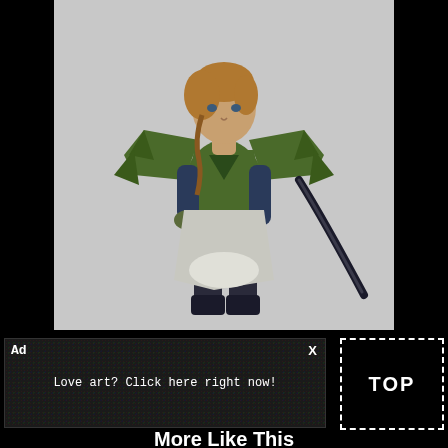[Figure (illustration): Fantasy character art of a female warrior/ranger wearing green dragon-scale armor with large shoulder pauldrons, brown braided hair, holding a dark curved sword/bow, standing in a confident pose against a light gray background.]
Ad
X
Love art? Click here right now!
TOP
More Like This